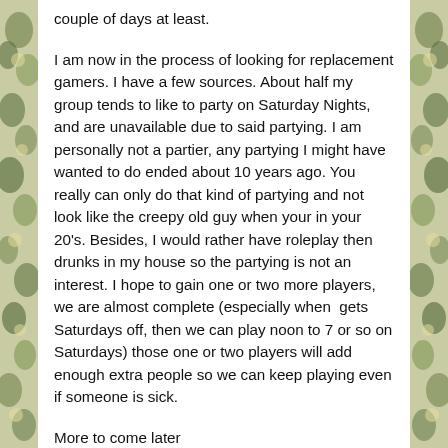couple of days at least.
I am now in the process of looking for replacement gamers. I have a few sources. About half my group tends to like to party on Saturday Nights, and are unavailable due to said partying. I am personally not a partier, any partying I might have wanted to do ended about 10 years ago. You really can only do that kind of partying and not look like the creepy old guy when your in your 20's. Besides, I would rather have roleplay then drunks in my house so the partying is not an interest. I hope to gain one or two more players, we are almost complete (especially when  gets Saturdays off, then we can play noon to 7 or so on Saturdays) those one or two players will add enough extra people so we can keep playing even if someone is sick.
More to come later